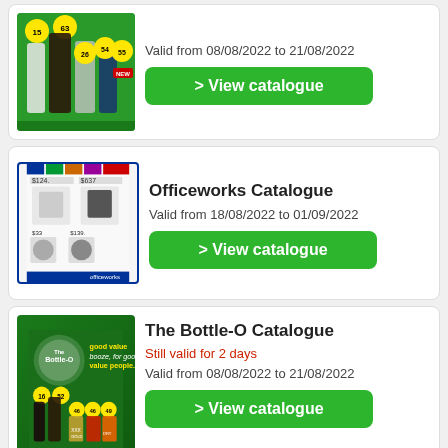[Figure (illustration): Liquor store catalogue thumbnail showing bottles on green background with price tags]
Valid from 08/08/2022 to 21/08/2022
> View catalogue
[Figure (illustration): Officeworks catalogue thumbnail showing smart home devices on white/blue background]
Officeworks Catalogue
Valid from 18/08/2022 to 01/09/2022
> View catalogue
[Figure (illustration): The Bottle-O catalogue thumbnail showing bottles on dark green background]
The Bottle-O Catalogue
Still valid for 2 days
Valid from 08/08/2022 to 21/08/2022
> View catalogue